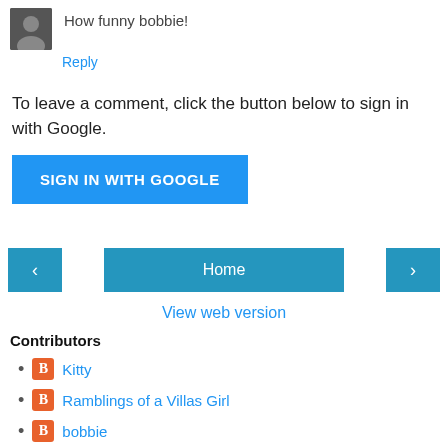How funny bobbie!
Reply
To leave a comment, click the button below to sign in with Google.
SIGN IN WITH GOOGLE
‹
Home
›
View web version
Contributors
Kitty
Ramblings of a Villas Girl
bobbie
Powered by Blogger.